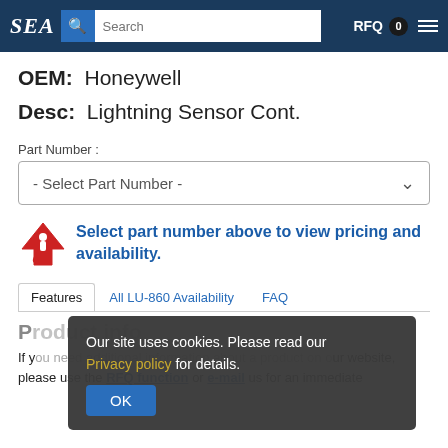SEA | Search | RFQ 0
OEM: Honeywell
Desc: Lightning Sensor Cont.
Part Number :
- Select Part Number -
Select part number above to view pricing and availability.
Features | All LU-860 Availability | FAQ
Our site uses cookies. Please read our Privacy policy for details.
OK
If you need additional information about a product on our website, please use the RFQ function or e-mail us for an immediate